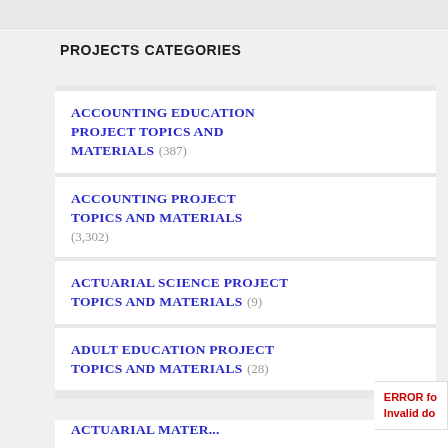PROJECTS CATEGORIES
ACCOUNTING EDUCATION PROJECT TOPICS AND MATERIALS (387)
ACCOUNTING PROJECT TOPICS AND MATERIALS (3,302)
ACTUARIAL SCIENCE PROJECT TOPICS AND MATERIALS (9)
ADULT EDUCATION PROJECT TOPICS AND MATERIALS (28)